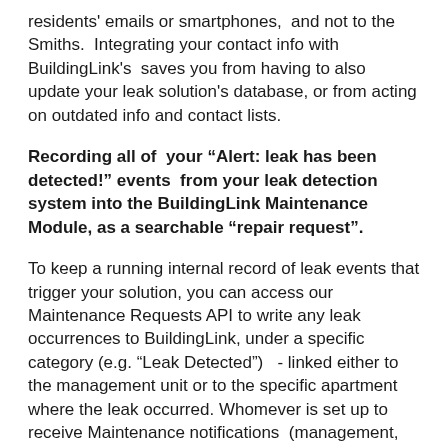residents' emails or smartphones, and not to the Smiths. Integrating your contact info with BuildingLink's saves you from having to also update your leak solution's database, or from acting on outdated info and contact lists.
Recording all of your “Alert: leak has been detected!” events from your leak detection system into the BuildingLink Maintenance Module, as a searchable “repair request”.
To keep a running internal record of leak events that trigger your solution, you can access our Maintenance Requests API to write any leak occurrences to BuildingLink, under a specific category (e.g. “Leak Detected”) - linked either to the management unit or to the specific apartment where the leak occurred. Whomever is set up to receive Maintenance notifications (management, residents)